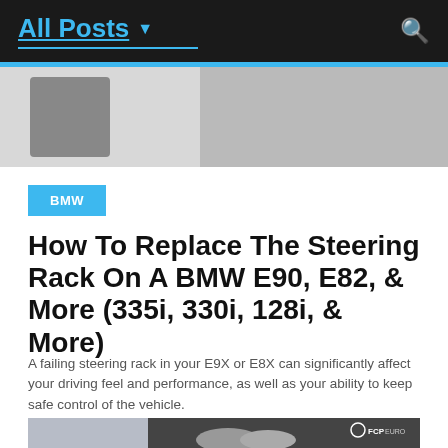All Posts ▼
[Figure (photo): Photo of person in car interior, dark background]
BMW
How To Replace The Steering Rack On A BMW E90, E82, & More (335i, 330i, 128i, & More)
A failing steering rack in your E9X or E8X can significantly affect your driving feel and performance, as well as your ability to keep safe control of the vehicle.
[Figure (photo): Photo of car exhaust pipes, FCP Euro logo visible in top right corner]